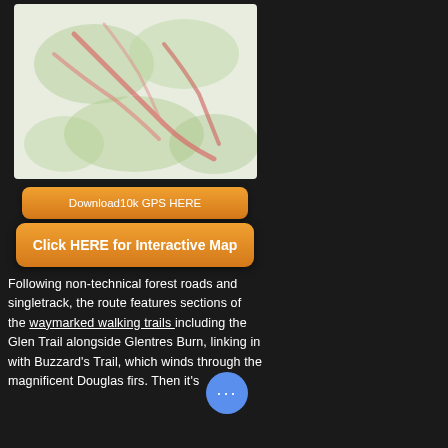[Figure (map): Blurred topographic trail map with green and red/pink route markings on a light background]
Download10k GPS HERE
Click HERE for Interactive Map
Following non-technical forest roads and singletrack, the route features sections of the waymarked walking trails including the Glen Trail alongside Glentre... Burn, linking in with Buzzard's Trail, which winds through the magnificent Douglas firs. Then it's